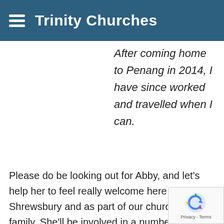Trinity Churches
After coming home to Penang in 2014, I have since worked and travelled when I can.
Please do be looking out for Abby, and let's help her to feel really welcome here in Shrewsbury and as part of our church family. She'll be involved in a number of different